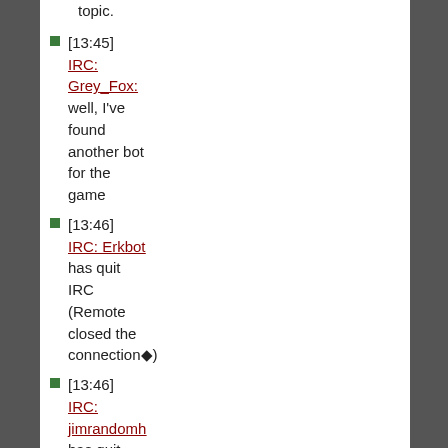topic.
[13:45] IRC: Grey_Fox: well, I've found another bot for the game
[13:46] IRC: Erkbot has quit IRC (Remote closed the connection�)
[13:46] IRC: jimrandomh has quit IRC (Client Quit�)
[13:46]